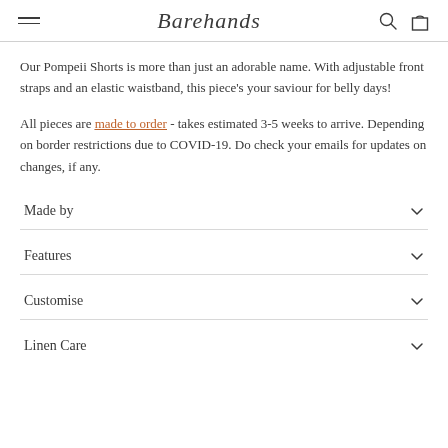Barehands
Our Pompeii Shorts is more than just an adorable name. With adjustable front straps and an elastic waistband, this piece's your saviour for belly days!
All pieces are made to order - takes estimated 3-5 weeks to arrive. Depending on border restrictions due to COVID-19. Do check your emails for updates on changes, if any.
Made by
Features
Customise
Linen Care